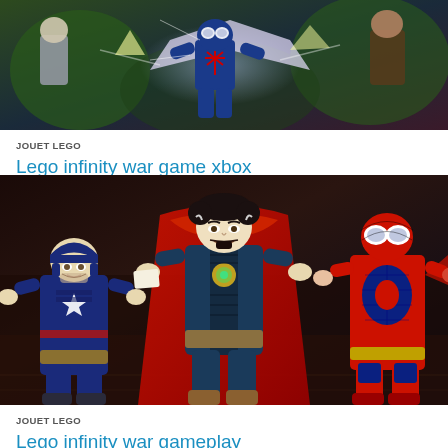[Figure (photo): LEGO Marvel Avengers/Infinity War game screenshot showing a blue spider-man LEGO character with action/explosion effects]
JOUET LEGO
Lego infinity war game xbox
[Figure (photo): LEGO Infinity War gameplay screenshot showing Captain America, Doctor Strange, and Spider-Man LEGO minifigures]
JOUET LEGO
Lego infinity war gameplay